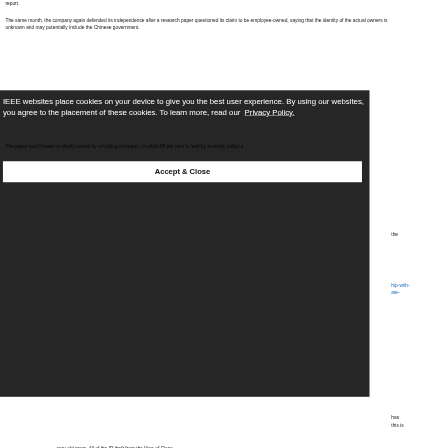report.
The same month, the company again defended its independence after a research paper questioned its claim to be employee-owned, saying that the identity of the actual owners is unknown and may potentially include the Chinese government.
The paper said Huawei is wholly owned by a holding company, of which 99 per cent is held by an entity called a
the
hip-with-
ate-
[Figure (screenshot): Cookie consent overlay for IEEE websites. Dark semi-transparent background with white text reading: 'IEEE websites place cookies on your device to give you the best user experience. By using our websites, you agree to the placement of these cookies. To learn more, read our Privacy Policy.' Below is a white 'Accept & Close' button.]
has
this is
very old news. All of the IP theft from the likes of Cisco,